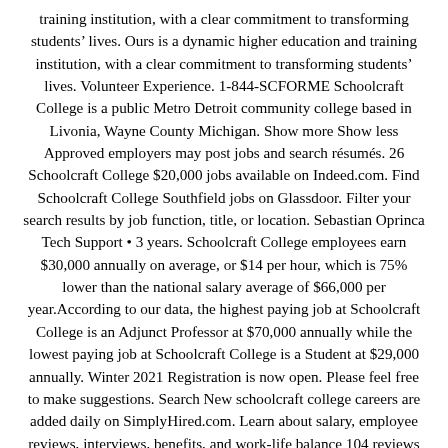training institution, with a clear commitment to transforming students' lives. Ours is a dynamic higher education and training institution, with a clear commitment to transforming students' lives. Volunteer Experience. 1-844-SCFORME Schoolcraft College is a public Metro Detroit community college based in Livonia, Wayne County Michigan. Show more Show less Approved employers may post jobs and search résumés. 26 Schoolcraft College $20,000 jobs available on Indeed.com. Find Schoolcraft College Southfield jobs on Glassdoor. Filter your search results by job function, title, or location. Sebastian Oprinca Tech Support • 3 years. Schoolcraft College employees earn $30,000 annually on average, or $14 per hour, which is 75% lower than the national salary average of $66,000 per year.According to our data, the highest paying job at Schoolcraft College is an Adjunct Professor at $70,000 annually while the lowest paying job at Schoolcraft College is a Student at $29,000 annually. Winter 2021 Registration is now open. Please feel free to make suggestions. Search New schoolcraft college careers are added daily on SimplyHired.com. Learn about salary, employee reviews, interviews, benefits, and work-life balance 104 reviews from Schoolcraft College employees about Schoolcraft College culture, salaries, benefits, work-life balance, management, job security, and more. The low-stress way to find your next schoolcraft college job opportunity is on SimplyHired. We are anxious to provide the best service possible. This site uses cookies to make finding jobs.